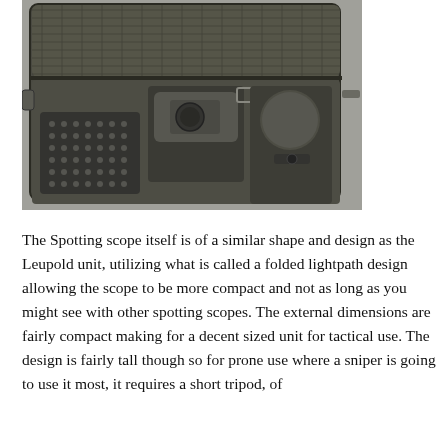[Figure (photo): Open carrying case viewed from above showing a dark olive/gray padded interior with compartments holding a spotting scope body and accessories including a lens cap holder and mesh pocket organizer.]
The Spotting scope itself is of a similar shape and design as the Leupold unit, utilizing what is called a folded lightpath design allowing the scope to be more compact and not as long as you might see with other spotting scopes. The external dimensions are fairly compact making for a decent sized unit for tactical use. The design is fairly tall though so for prone use where a sniper is going to use it most, it requires a short tripod, of